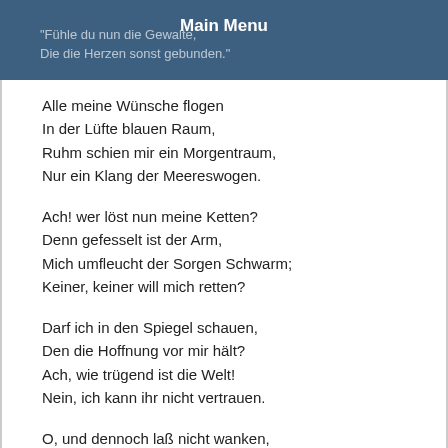Main Menu
"Fühle du nun die Gewalte,
Die die Herzen sonst gebunden."
Alle meine Wünsche flogen
In der Lüfte blauen Raum,
Ruhm schien mir ein Morgentraum,
Nur ein Klang der Meereswogen.
Ach! wer löst nun meine Ketten?
Denn gefesselt ist der Arm,
Mich umfleucht der Sorgen Schwarm;
Keiner, keiner will mich retten?
Darf ich in den Spiegel schauen,
Den die Hoffnung vor mir hält?
Ach, wie trügend ist die Welt!
Nein, ich kann ihr nicht vertrauen.
O, und dennoch laß nicht wanken,
Was dir nur noch Stärke gibt,
Wenn die Einzge dich nicht liebt,
Bleib nur bittrer Tod dem Kranken.